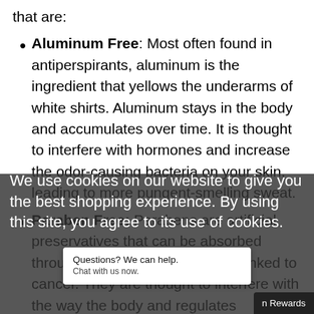that are:
Aluminum Free: Most often found in antiperspirants, aluminum is the ingredient that yellows the underarms of white shirts. Aluminum stays in the body and accumulates over time. It is thought to interfere with hormones and increase the odor-causing bacteria on your skin, leading to more pungent-smelling sweat.
Paraben Free: Parabens are artificial preservatives that can be absorbed through the skin and have been linked to cancer. They are thought to interfere with the way the body regulates hormones and are suspected...
We use cookies on our website to give you the best shopping experience. By using this site, you agree to its use of cookies.
Questions? We can help. Chat with us now.
n Rewards